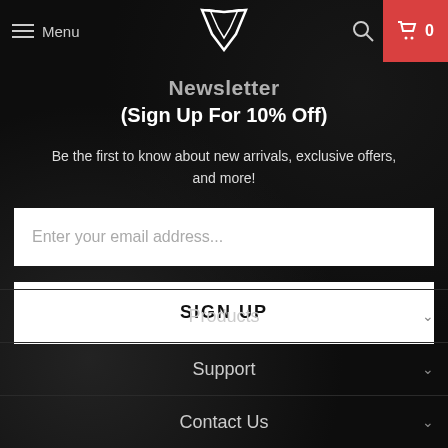Menu | [Logo V] | [Search] | Cart 0
Newsletter
(Sign Up For 10% Off)
Be the first to know about new arrivals, exclusive offers, and more!
Enter your email address...
SIGN UP
Products
Support
Contact Us